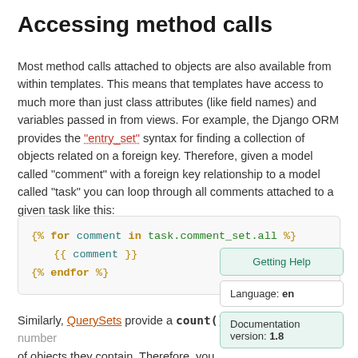Accessing method calls
Most method calls attached to objects are also available from within templates. This means that templates have access to much more than just class attributes (like field names) and variables passed in from views. For example, the Django ORM provides the "entry_set" syntax for finding a collection of objects related on a foreign key. Therefore, given a model called "comment" with a foreign key relationship to a model called "task" you can loop through all comments attached to a given task like this:
[Figure (screenshot): Code block showing Django template syntax: {% for comment in task.comment_set.all %} {{ comment }} {% endfor %}]
Similarly, QuerySets provide a count() method to count the number of objects they contain. Therefore, you comments related to the current task with: